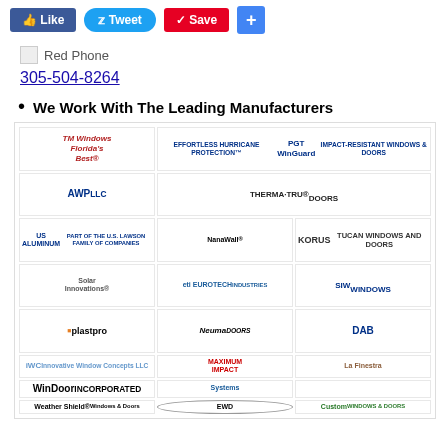[Figure (infographic): Social sharing buttons: Like (Facebook), Tweet (Twitter), Save (Pinterest), + (Google/Share)]
[Figure (illustration): Red Phone icon image placeholder]
305-504-8264
We Work With The Leading Manufacturers
[Figure (infographic): Collage of manufacturer logos including Florida's Best (TM Windows), PGT WinGuard, AWP, Therma-Tru Doors, US Aluminum, NanaWall, Korus, Solar Innovations, ETI Eurotech, SIW Windows, Plastpro, Neuma Doors, IWC Innovative Window Concepts, Maximum Impact, DAB, WinDoor Incorporated, Systems, La Finestra, Weather Shield Windows & Doors, EWD, Custom Windows & Doors]